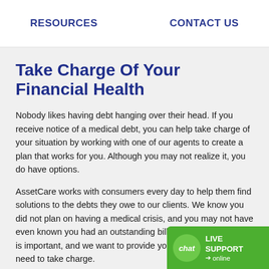RESOURCES    CONTACT US
Take Charge Of Your Financial Health
Nobody likes having debt hanging over their head. If you receive notice of a medical debt, you can help take charge of your situation by working with one of our agents to create a plan that works for you. Although you may not realize it, you do have options.
AssetCare works with consumers every day to help them find solutions to the debts they owe to our clients. We know you did not plan on having a medical crisis, and you may not have even known you had an outstanding bill. Your financial health is important, and we want to provide you with the tools you need to take charge.
[Figure (other): Live chat widget with green background showing 'chat' bubble icon and text 'LIVE SUPPORT online']